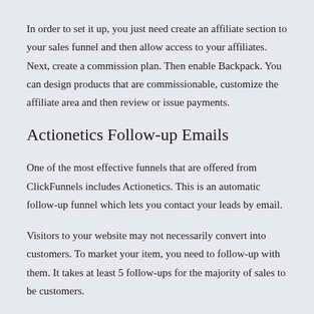In order to set it up, you just need create an affiliate section to your sales funnel and then allow access to your affiliates. Next, create a commission plan. Then enable Backpack. You can design products that are commissionable, customize the affiliate area and then review or issue payments.
Actionetics Follow-up Emails
One of the most effective funnels that are offered from ClickFunnels includes Actionetics. This is an automatic follow-up funnel which lets you contact your leads by email.
Visitors to your website may not necessarily convert into customers. To market your item, you need to follow-up with them. It takes at least 5 follow-ups for the majority of sales to be customers.
With Actionetics, you can keep your prospects in the funnel, send updates and keep them in the loop until they turn into a paying